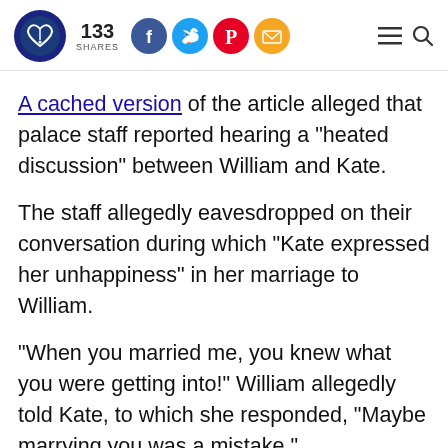133 SHARES [social share icons: Facebook, Twitter, Pinterest, Email] [hamburger menu] [search]
A cached version of the article alleged that palace staff reported hearing a "heated discussion" between William and Kate.
The staff allegedly eavesdropped on their conversation during which "Kate expressed her unhappiness" in her marriage to William.
"When you married me, you knew what you were getting into!" William allegedly told Kate, to which she responded, "Maybe marrying you was a mistake."